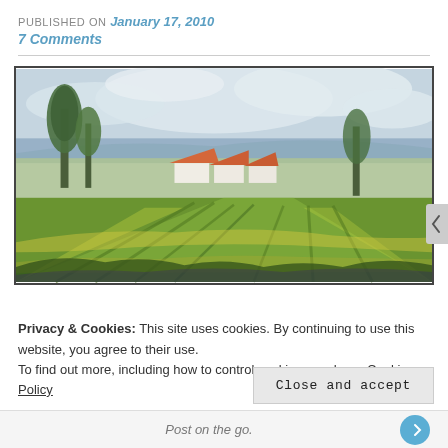PUBLISHED ON January 17, 2010
7 Comments
[Figure (illustration): Impressionist oil painting of a rural landscape with green and yellow fields in the foreground, white houses with red/orange roofs in the middle ground, trees on the left, and a blue-grey sky with clouds.]
Privacy & Cookies: This site uses cookies. By continuing to use this website, you agree to their use.
To find out more, including how to control cookies, see here: Cookie Policy
Post on the go.